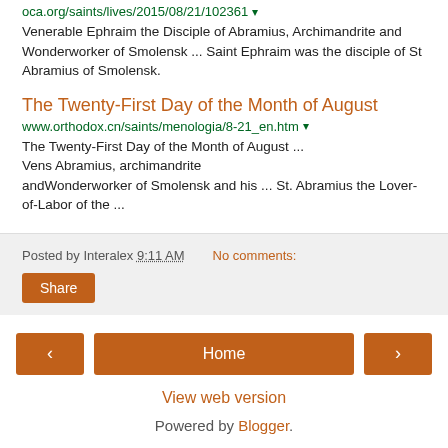oca.org/saints/lives/2015/08/21/102361
Venerable Ephraim the Disciple of Abramius, Archimandrite and Wonderworker of Smolensk ... Saint Ephraim was the disciple of St Abramius of Smolensk.
The Twenty-First Day of the Month of August
www.orthodox.cn/saints/menologia/8-21_en.htm
The Twenty-First Day of the Month of August ... Vens Abramius, archimandrite andWonderworker of Smolensk and his ... St. Abramius the Lover-of-Labor of the ...
Posted by Interalex 9:11 AM   No comments:
Share
Home
View web version
Powered by Blogger.